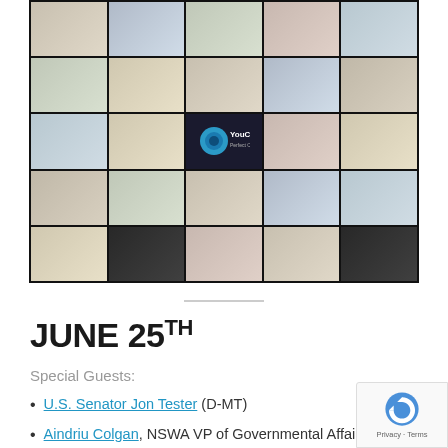[Figure (photo): Screenshot of a video conference call (Zoom-style) showing approximately 20 participants in a 5x5 grid layout. One cell shows the YouCam 5 software logo. Participants appear to be in home offices and various indoor settings.]
JUNE 25TH
Special Guests:
U.S. Senator Jon Tester (D-MT)
Aindriu Colgan, NSWA VP of Governmental Affairs